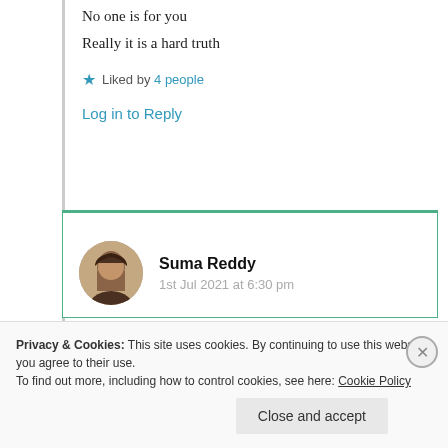No one is for you
Really it is a hard truth
Liked by 4 people
Log in to Reply
Suma Reddy
1st Jul 2021 at 6:30 pm
Privacy & Cookies: This site uses cookies. By continuing to use this website, you agree to their use.
To find out more, including how to control cookies, see here: Cookie Policy
Close and accept